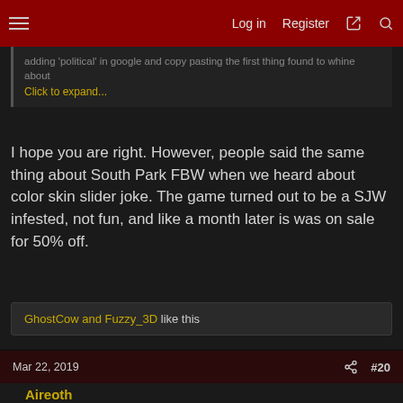Log in  Register
adding 'political' in google and copy pasting the first thing found to whine about
Click to expand...
I hope you are right. However, people said the same thing about South Park FBW when we heard about color skin slider joke. The game turned out to be a SJW infested, not fun, and like a month later is was on sale for 50% off.
GhostCow and Fuzzy_3D like this
Mar 22, 2019  #20
Aireoth
Supreme [H]ardness
BreezeDM said:
I hope you are right. However, people said the same thing about